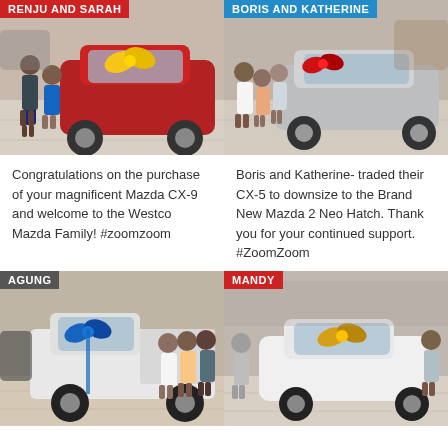[Figure (photo): Photo of Renju and Sarah family standing in front of a red Mazda CX-9 SUV with a yellow bow, inside a car dealership showroom. Label: RENJU AND SARAH]
[Figure (photo): Photo of Boris and Katherine with others standing beside a silver Mazda 2 Neo Hatch with red bows, inside a car dealership. Label: BORIS AND KATHERINE]
Congratulations on the purchase of your magnificent Mazda CX-9 and welcome to the Westco Mazda Family! #zoomzoom
Boris and Katherine- traded their CX-5 to downsize to the Brand New Mazda 2 Neo Hatch. Thank you for your continued support. #ZoomZoom
[Figure (photo): Photo of Agung and others standing in front of a white Mazda BT-50 ute with a blue bow, inside a car dealership. Label: AGUNG]
[Figure (photo): Photo of Mandy and a salesperson standing beside a white Mazda 2 with a gold bow, inside a car dealership. Label: MANDY]